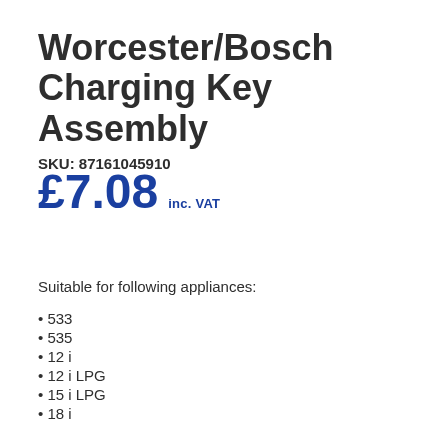Worcester/Bosch Charging Key Assembly
SKU: 87161045910
£7.08  inc. VAT
Suitable for following appliances:
533
535
12 i
12 i LPG
15 i LPG
18 i